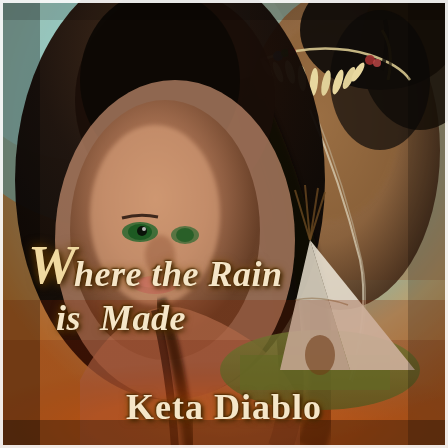[Figure (illustration): Book cover for 'Where the Rain is Made' by Keta Diablo. The cover features a composite photographic illustration: a young woman with long dark brown hair and green eyes in the foreground (left center), looking slightly to the left. Behind her to the upper right is a shirtless male figure wearing a Native American bone/spike necklace with beads. In the background is a white teepee on green grass with a dramatic sky. The lower portion has warm orange/red tones suggesting fire or sunset.]
Where the Rain is Made
Keta Diablo